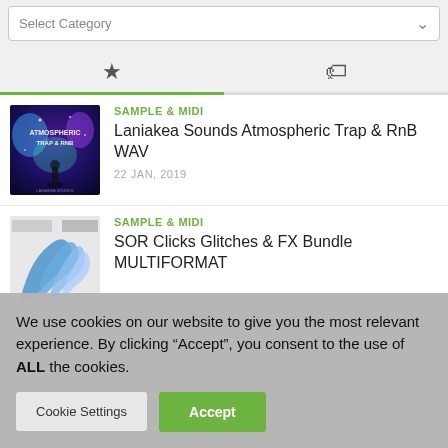Select Category
[Figure (screenshot): Tab bar with star icon (active) and tag/price icon, green underline under first tab]
SAMPLE & MIDI
Laniakea Sounds Atmospheric Trap & RnB WAV
22 JAN, 2019
SAMPLE & MIDI
SOR Clicks Glitches & FX Bundle MULTIFORMAT
We use cookies on our website to give you the most relevant experience. By clicking “Accept”, you consent to the use of ALL the cookies.
Cookie Settings
Accept